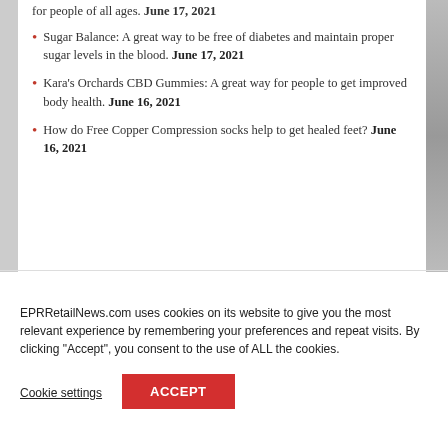for people of all ages. June 17, 2021
Sugar Balance: A great way to be free of diabetes and maintain proper sugar levels in the blood. June 17, 2021
Kara's Orchards CBD Gummies: A great way for people to get improved body health. June 16, 2021
How do Free Copper Compression socks help to get healed feet? June 16, 2021
EPRRetailNews.com uses cookies on its website to give you the most relevant experience by remembering your preferences and repeat visits. By clicking "Accept", you consent to the use of ALL the cookies.
Cookie settings
ACCEPT